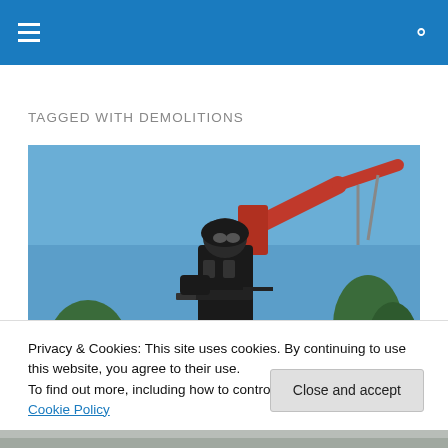TAGGED WITH DEMOLITIONS
[Figure (photo): An armed soldier in tactical gear standing in front of a crane arm against a blue sky, with trees visible in the background.]
Privacy & Cookies: This site uses cookies. By continuing to use this website, you agree to their use.
To find out more, including how to control cookies, see here: Cookie Policy
[Figure (photo): Partial view of a stone or concrete structure at the bottom of the page.]